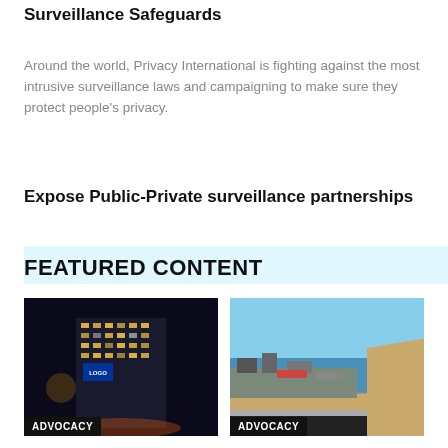Surveillance Safeguards
Around the world, Privacy International is fighting against the most intrusive surveillance laws and campaigning to make sure they protect people's privacy.
Expose Public-Private surveillance partnerships
FEATURED CONTENT
[Figure (photo): Nighttime photo of a tall illuminated office building with blue signage, labeled ADVOCACY at the bottom]
[Figure (photo): Aerial daytime photo of a coastal port/harbor area with ships and shoreline, labeled ADVOCACY at the bottom]